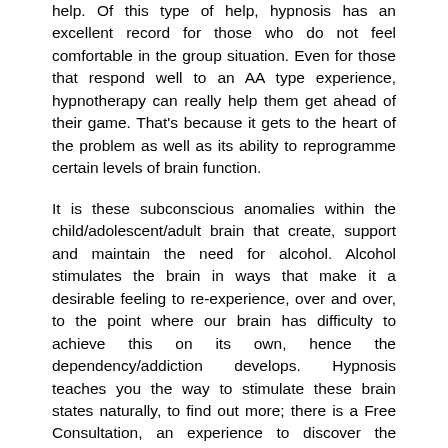help. Of this type of help, hypnosis has an excellent record for those who do not feel comfortable in the group situation. Even for those that respond well to an AA type experience, hypnotherapy can really help them get ahead of their game. That's because it gets to the heart of the problem as well as its ability to reprogramme certain levels of brain function.
It is these subconscious anomalies within the child/adolescent/adult brain that create, support and maintain the need for alcohol. Alcohol stimulates the brain in ways that make it a desirable feeling to re-experience, over and over, to the point where our brain has difficulty to achieve this on its own, hence the dependency/addiction develops. Hypnosis teaches you the way to stimulate these brain states naturally, to find out more; there is a Free Consultation, an experience to discover the amazing power of self?
Hypnotherapy stands out as one of the most effective strategic life management methods there is, especially in its ability to promote good states of mental wellness. The behaviours that make life challenging are often a result of dysregulation of the